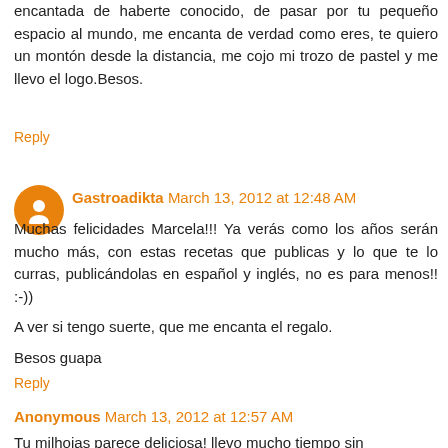encantada de haberte conocido, de pasar por tu pequeño espacio al mundo, me encanta de verdad como eres, te quiero un montón desde la distancia, me cojo mi trozo de pastel y me llevo el logo.Besos.
Reply
Gastroadikta March 13, 2012 at 12:48 AM
Muchas felicidades Marcela!!! Ya verás como los años serán mucho más, con estas recetas que publicas y lo que te lo curras, publicándolas en español y inglés, no es para menos!! :-))

A ver si tengo suerte, que me encanta el regalo.

Besos guapa
Reply
Anonymous March 13, 2012 at 12:57 AM
Tu milhojas parece deliciosa! llevo mucho tiempo sin